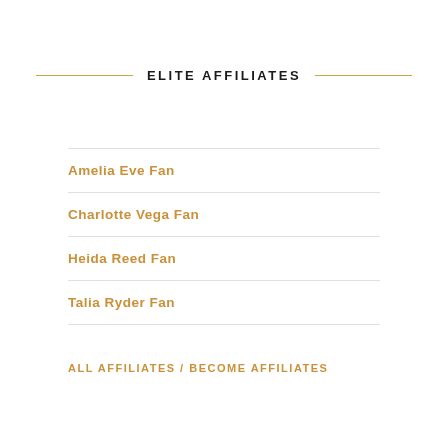ELITE AFFILIATES
Amelia Eve Fan
Charlotte Vega Fan
Heida Reed Fan
Talia Ryder Fan
ALL AFFILIATES / BECOME AFFILIATES